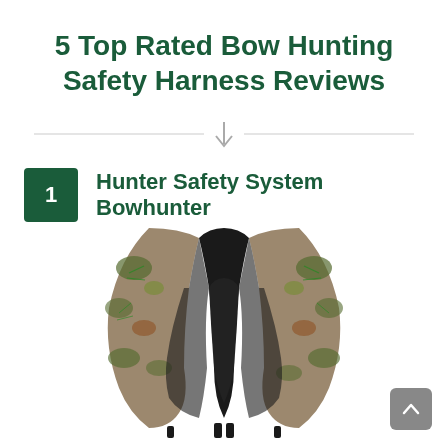5 Top Rated Bow Hunting Safety Harness Reviews
[Figure (illustration): Decorative divider with horizontal lines and a downward-pointing arrow in the center]
1  Hunter Safety System Bowhunter
[Figure (photo): Product photo of a Hunter Safety System Bowhunter safety harness with camouflage patterned shoulder straps and black center panel, shown from the back]